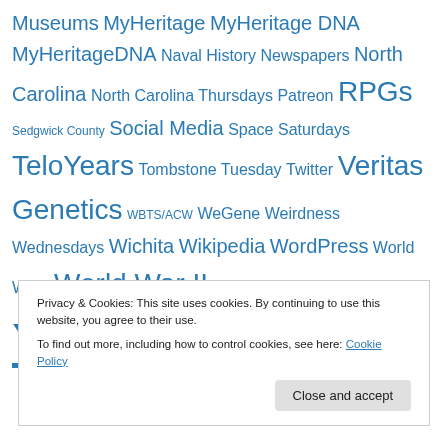Museums MyHeritage MyHeritage DNA MyHeritageDNA Naval History Newspapers North Carolina North Carolina Thursdays Patreon RPGs Sedgwick County Social Media Space Saturdays TeloYears Tombstone Tuesday Twitter Veritas Genetics WBTS/ACW WeGene Weirdness Wednesdays Wichita Wikipedia WordPress World War I World War II Y-DNA
YouTube
Privacy & Cookies: This site uses cookies. By continuing to use this website, you agree to their use. To find out more, including how to control cookies, see here: Cookie Policy